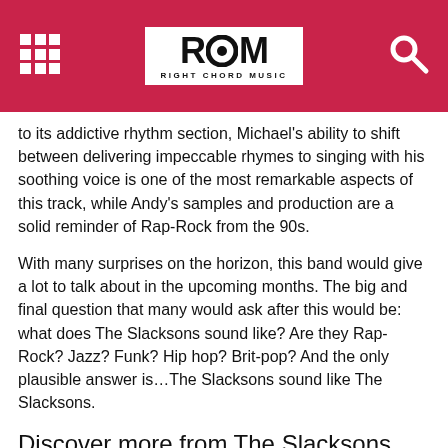Right Chord Music
to its addictive rhythm section, Michael's ability to shift between delivering impeccable rhymes to singing with his soothing voice is one of the most remarkable aspects of this track, while Andy's samples and production are a solid reminder of Rap-Rock from the 90s.
With many surprises on the horizon, this band would give a lot to talk about in the upcoming months. The big and final question that many would ask after this would be: what does The Slacksons sound like? Are they Rap-Rock? Jazz? Funk? Hip hop? Brit-pop? And the only plausible answer is…The Slacksons sound like The Slacksons.
Discover more from The Slacksons
Facebook
Instagram
Spotify